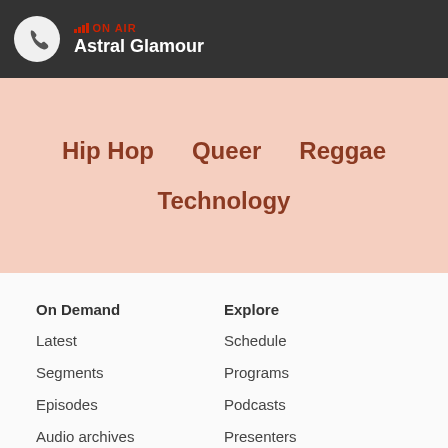ON AIR — Astral Glamour
Hip Hop
Queer
Reggae
Technology
On Demand
Latest
Segments
Episodes
Audio archives
Explore
Schedule
Programs
Podcasts
Presenters
Album of the week
Soundscape